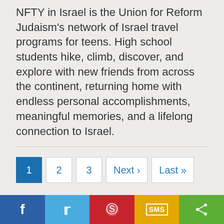NFTY in Israel is the Union for Reform Judaism's network of Israel travel programs for teens. High school students hike, climb, discover, and explore with new friends from across the continent, returning home with endless personal accomplishments, meaningful memories, and a lifelong connection to Israel.
1  2  3  Next ›  Last »
[Figure (screenshot): Empty sidebar/widget box with light gray background]
f  [Twitter]  [Pinterest]  SMS  [Share]